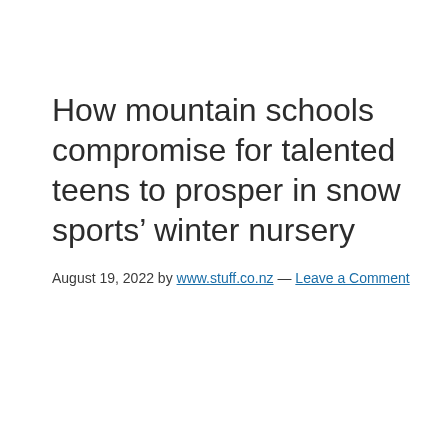How mountain schools compromise for talented teens to prosper in snow sports' winter nursery
August 19, 2022 by www.stuff.co.nz — Leave a Comment